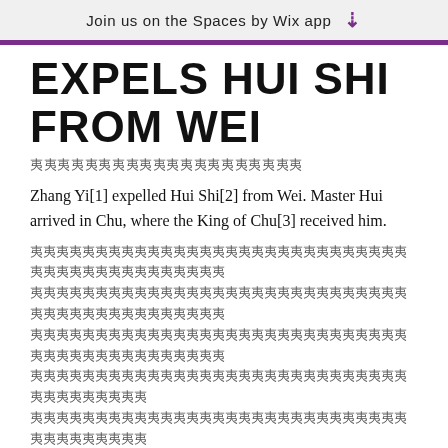Join us on the Spaces by Wix app ⬇
EXPELS HUI SHI FROM WEI
㊅㊅㊅㊅㊅㊅㊅㊅㊅㊅㊅㊅㊅㊅㊅㊅㊅㊅㊅㊅
Zhang Yi[1] expelled Hui Shi[2] from Wei. Master Hui arrived in Chu, where the King of Chu[3] received him.
㊅㊅㊅㊅㊅㊅㊅㊅㊅㊅㊅㊅㊅㊅㊅㊅㊅㊅㊅㊅㊅㊅㊅㊅㊅㊅㊅㊅㊅㊅㊅㊅㊅㊅㊅㊅㊅㊅㊅㊅㊅㊅㊅㊅㊅㊅㊅㊅㊅㊅㊅㊅㊅㊅㊅㊅㊅㊅㊅㊅㊅㊅㊅㊅㊅㊅㊅㊅㊅㊅㊅㊅㊅㊅㊅㊅㊅㊅㊅㊅㊅㊅㊅㊅㊅㊅㊅㊅㊅㊅㊅㊅㊅㊅㊅㊅㊅㊅㊅㊅㊅㊅㊅㊅㊅㊅㊅㊅㊅㊅㊅㊅㊅㊅㊅㊅㊅㊅㊅㊅㊅㊅㊅㊅㊅㊅㊅㊅㊅㊅㊅㊅㊅㊅㊅㊅㊅㊅㊅㊅㊅㊅㊅㊅㊅㊅㊅㊅㊅㊅㊅㊅㊅㊅㊅㊅㊅㊅㊅㊅㊅㊅㊅㊅㊅㊅㊅㊅㊅㊅㊅㊅㊅㊅㊅㊅㊅㊅㊅㊅㊅㊅㊅㊅㊅㊅㊅㊅㊅㊅㊅㊅㊅㊅
Feng Hao[4] spoke to the King of Chu, saying, "It was Zhang Yi who expelled Master Hui. If Your Majesty makes a pact of friendship with him, you will be